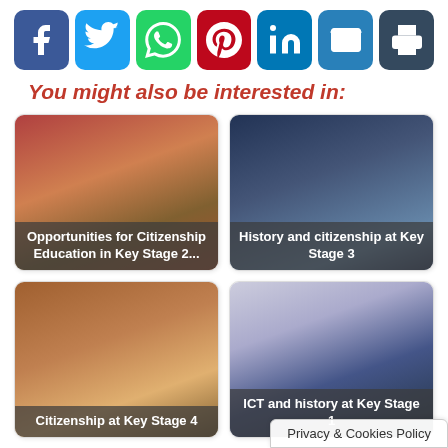[Figure (infographic): Social media sharing icons: Facebook (blue), Twitter (light blue), WhatsApp (green), Pinterest (red), LinkedIn (dark blue), Email (blue), Print (dark grey)]
You might also be interested in:
[Figure (photo): Card: Opportunities for Citizenship Education in Key Stage 2... with image of children working together]
[Figure (photo): Card: History and citizenship at Key Stage 3 with image of students in class]
[Figure (photo): Card: Citizenship at Key Stage 4 with image of people at a board]
[Figure (photo): Card: ICT and history at Key Stage 1 with image of computer screen and toys]
Privacy & Cookies Policy